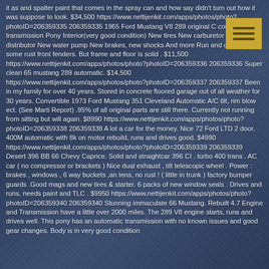it as and spalter paint that comes in the spray can and how say didn't turn out how it was suppose to look. $34,500 https://www.nettijenkit.com/apps/photos/photo?photoID=206359335 206359335 1965 Ford Mustang V8 289 original C code Manual transmission Pony Interior(very good condition) New tires New carburetor New distributor New water pump New brakes, new shocks And more Run and drive. Have some rust front fenders. But frame and floor is solid . $11,500 https://www.nettijenkit.com/apps/photos/photo?photoID=206359336 206359336 Super clean 65 mustang 289 automatic. $14,500 https://www.nettijenkit.com/apps/photos/photo?photoID=206359337 206359337 Been in my family for over 40 years. Stored in concrete floored garage out of all weather for 30 years. Convertible 1973 Ford Mustang 351 Cleveland Automatic A/C tilt, rim blow ect. (See Marti Report) .95% of all original parts are still there. Currently not running from sitting but will again. $8990 https://www.nettijenkit.com/apps/photos/photo?photoID=206359338 206359338 A lot a car for the money. Nice 72 Ford LTD 2 door. 400M automatic with 8k on motor rebuild, runs and drives good. $4990 https://www.nettijenkit.com/apps/photos/photo?photoID=206359339 206359339 Desert 396 BB 66 Chevy Caprice. Solid and straightcar 396 CI . turbo 400 trans . AC car ( no compressor or brackets ) Nice dual exhaust , tilt telescopic wheel . Power : brakes , windows , 6 way buckets ,an tens, no rust ! ( little in trunk ) factory bumper guards .Good mags and new tires & starter. 6 packs of new window seals . Drives and runs, needs paint and TLC . $9950 https://www.nettijenkit.com/apps/photos/photo?photoID=206359340 206359340 Stunning immaculate 66 Mustang. Rebuilt 4.7 Engine and Transmission have a little over 2000 miles. The 289 V8 engine starts, runs and drives well. This pony has an automatic transmission with no known issues and good gear changes. Body is in very good condition
[Figure (illustration): Golden/yellow square menu icon with three horizontal dark brown/olive lines, positioned in the upper right corner of the page]